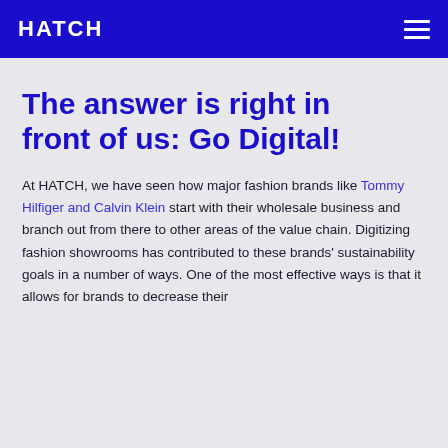HATCH
The answer is right in front of us: Go Digital!
At HATCH, we have seen how major fashion brands like Tommy Hilfiger and Calvin Klein start with their wholesale business and branch out from there to other areas of the value chain. Digitizing fashion showrooms has contributed to these brands' sustainability goals in a number of ways. One of the most effective ways is that it allows for brands to decrease their